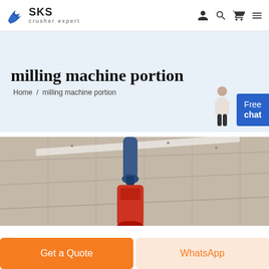SKS crusher expert
milling machine portion
Home / milling machine portion
[Figure (photo): Industrial milling machine component photographed from below, showing a blue and red mechanical part against a warehouse ceiling background]
Get a Quote
WhatsApp